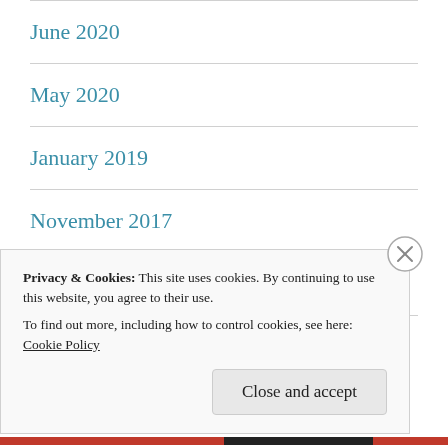June 2020
May 2020
January 2019
November 2017
June 2017
Privacy & Cookies: This site uses cookies. By continuing to use this website, you agree to their use.
To find out more, including how to control cookies, see here: Cookie Policy
Close and accept